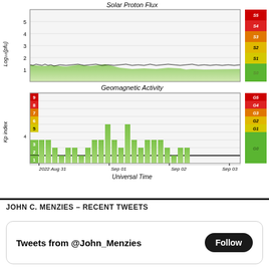[Figure (continuous-plot): Solar Proton Flux chart showing Log10(pfu) on y-axis (1-5) over time from 2022 Aug 31 to Sep 03, with green filled area near baseline and a black line trace. Right side legend shows storm scale S0-S5 colored green to red.]
[Figure (bar-chart): Geomagnetic Activity bar chart showing Kp index (1-9) on y-axis over Universal Time from 2022 Aug 31 to Sep 03. Green bars mostly around 3-5, with peaks near Sep 01. Right side legend shows G0-G5 storm scale colored green to red.]
JOHN C. MENZIES – RECENT TWEETS
Tweets from @John_Menzies